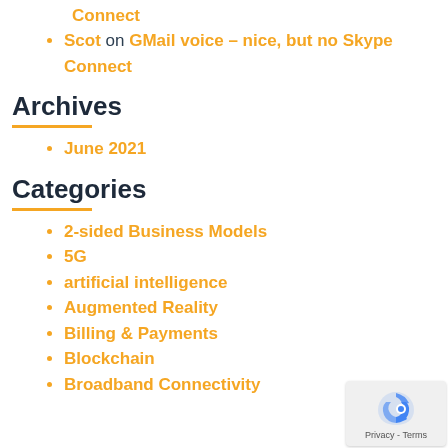Connect
Scot on GMail voice – nice, but no Skype Connect
Archives
June 2021
Categories
2-sided Business Models
5G
artificial intelligence
Augmented Reality
Billing & Payments
Blockchain
Broadband Connectivity